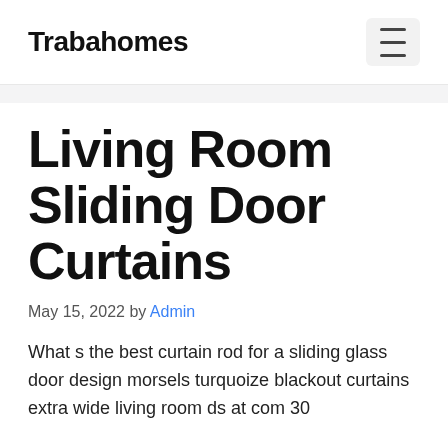Trabahomes
Living Room Sliding Door Curtains
May 15, 2022 by Admin
What s the best curtain rod for a sliding glass door design morsels turquoize blackout curtains extra wide living room ds at com 30